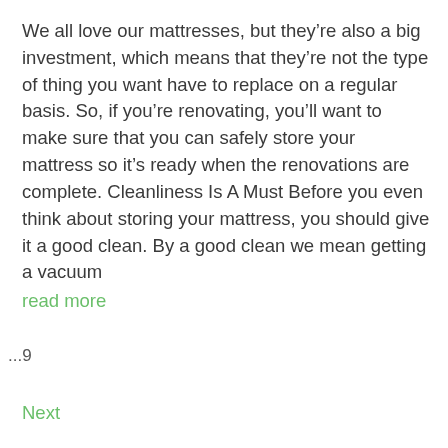We all love our mattresses, but they're also a big investment, which means that they're not the type of thing you want have to replace on a regular basis. So, if you're renovating, you'll want to make sure that you can safely store your mattress so it's ready when the renovations are complete. Cleanliness Is A Must Before you even think about storing your mattress, you should give it a good clean. By a good clean we mean getting a vacuum
read more
...9
Next